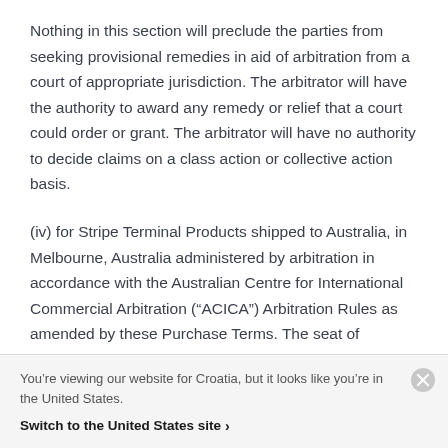Nothing in this section will preclude the parties from seeking provisional remedies in aid of arbitration from a court of appropriate jurisdiction. The arbitrator will have the authority to award any remedy or relief that a court could order or grant. The arbitrator will have no authority to decide claims on a class action or collective action basis.
(iv) for Stripe Terminal Products shipped to Australia, in Melbourne, Australia administered by arbitration in accordance with the Australian Centre for International Commercial Arbitration (“ACICA”) Arbitration Rules as amended by these Purchase Terms. The seat of arbitration will be Melbourne. Australia. The tribunal will
You’re viewing our website for Croatia, but it looks like you’re in the United States.
Switch to the United States site ›
Zealand, in Auckland, New Zealand administered by